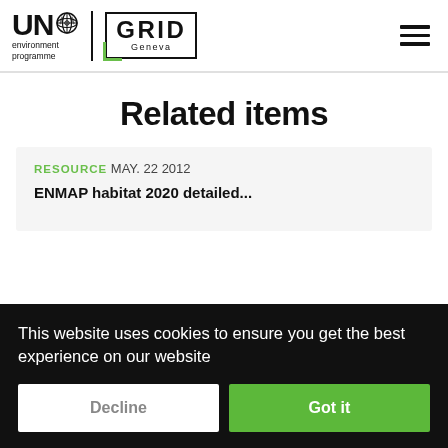[Figure (logo): UN Environment Programme GRID Geneva logo with hamburger menu icon]
Related items
RESOURCE MAY. 22 2012
Cookie banner: This website uses cookies to ensure you get the best experience on our website
Decline | Got it
PROJECT